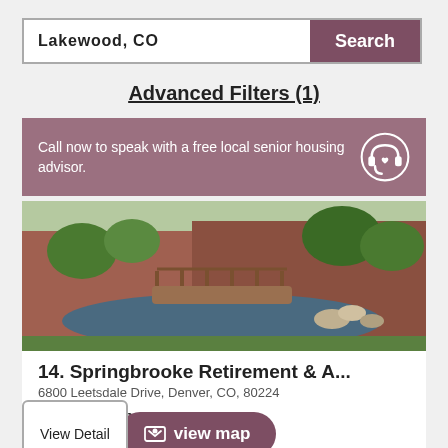Lakewood, CO | Search
Advanced Filters (1)
Call now to speak with a free local senior housing advisor.
[Figure (photo): Outdoor photo of a retirement community with a wooden bridge over a pond, rocks, and greenery]
14. Springbrooke Retirement & A...
6800 Leetsdale Drive, Denver, CO, 80224
Assisted Living
Call for Pricing (877) 881-2933
View Details | view map